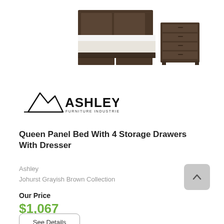[Figure (photo): Product photo showing a queen panel bed with 4 storage drawers and a matching dresser in grayish brown finish]
[Figure (logo): Ashley Furniture Industries, LLC logo with mountain/triangle graphic]
Queen Panel Bed With 4 Storage Drawers With Dresser
Ashley
Johurst Grayish Brown Collection
Our Price
$1,067
See Details